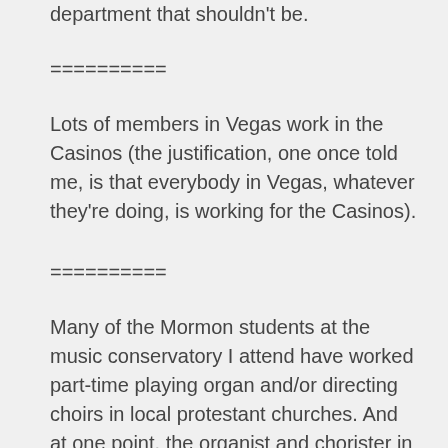department that shouldn't be.
==========
Lots of members in Vegas work in the Casinos (the justification, one once told me, is that everybody in Vegas, whatever they're doing, is working for the Casinos).
==========
Many of the Mormon students at the music conservatory I attend have worked part-time playing organ and/or directing choirs in local protestant churches. And at one point, the organist and chorister in my ward, the former an early music specialist, the latter a Wagnerian tenor, both worked in a progressive local synagogue. Before any given service, you might have encountered a Mormon guy playing Lutheran church music while the